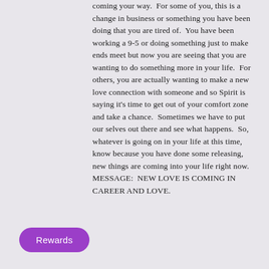coming your way.  For some of you, this is a change in business or something you have been doing that you are tired of.  You have been working a 9-5 or doing something just to make ends meet but now you are seeing that you are wanting to do something more in your life.  For others, you are actually wanting to make a new love connection with someone and so Spirit is saying it's time to get out of your comfort zone and take a chance.  Sometimes we have to put our selves out there and see what happens.  So, whatever is going on in your life at this time, know because you have done some releasing, new things are coming into your life right now.  MESSAGE:  NEW LOVE IS COMING IN CAREER AND LOVE.